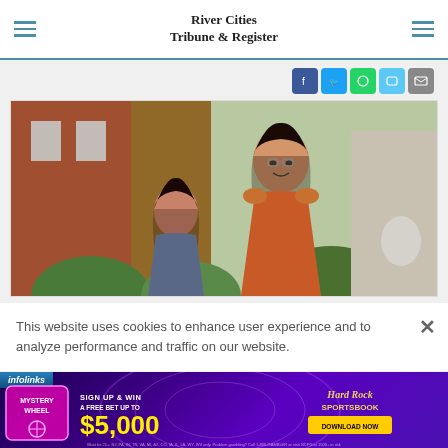River Cities Tribune & Register
[Figure (photo): Two women smiling outdoors in front of a brick building with a fountain, one in an orange dress]
This website uses cookies to enhance user experience and to analyze performance and traffic on our website.
[Figure (infographic): Hard Rock Sportsbook advertisement: Mystery Wheel — Sign Up & Win A Free Bet Up To $5,000 — Download Now]